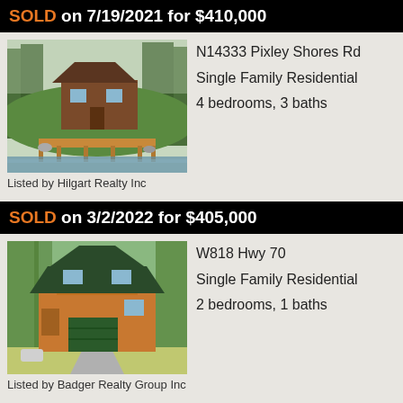SOLD on 7/19/2021 for $410,000
[Figure (photo): Exterior photo of a brown cabin/chalet with green trees, a wooden dock leading to water in the foreground]
N14333 Pixley Shores Rd
Single Family Residential
4 bedrooms, 3 baths
Listed by Hilgart Realty Inc
SOLD on 3/2/2022 for $405,000
[Figure (photo): Exterior photo of an orange/brown two-story house with dark green roof and garage door, surrounded by green trees]
W818 Hwy 70
Single Family Residential
2 bedrooms, 1 baths
Listed by Badger Realty Group Inc